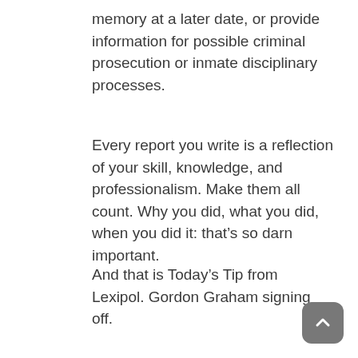memory at a later date, or provide information for possible criminal prosecution or inmate disciplinary processes.
Every report you write is a reflection of your skill, knowledge, and professionalism. Make them all count. Why you did, what you did, when you did it: that’s so darn important.
And that is Today’s Tip from Lexipol. Gordon Graham signing off.